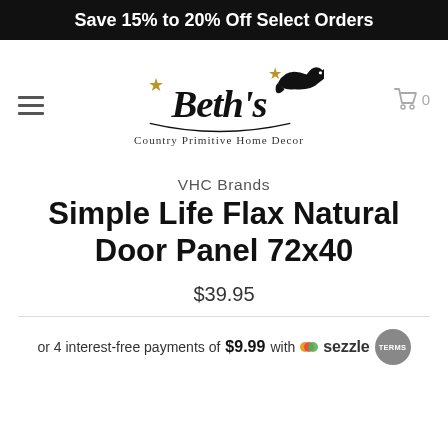Save 15% to 20% Off Select Orders
[Figure (logo): Beth's Country Primitive Home Decor logo with bird and stars]
VHC Brands
Simple Life Flax Natural Door Panel 72x40
$39.95
or 4 interest-free payments of $9.99 with Sezzle